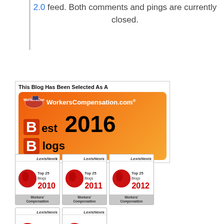2.0 feed. Both comments and pings are currently closed.
[Figure (logo): WorkersCompensation.com Best Blogs 2016 badge - orange gradient badge with 'This Blog Has Been Selected As A' header text, displaying the WorkersCompensation.com logo with US flag map icon and 'Best Blogs 2016' in large black/white text]
[Figure (logo): LexisNexis Top 25 Blogs 2010 Workers Compensation badge - red globe icon]
[Figure (logo): LexisNexis Top 25 Blogs 2011 Workers Compensation badge - red globe icon]
[Figure (logo): LexisNexis Top 25 Blogs 2012 Workers Compensation badge - red globe icon]
[Figure (logo): LexisNexis Top Blogs 2013 Workers Compensation badge - red globe icon]
[Figure (logo): LexisNexis Top Blogs 2014 Workers Compensation badge - red globe icon]